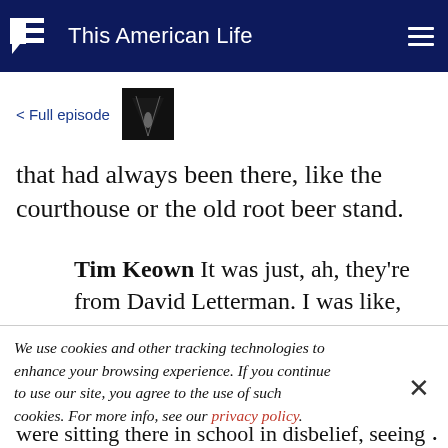This American Life
< Full episode
that had always been there, like the courthouse or the old root beer stand.
Tim Keown It was just, ah, they're from David Letterman. I was like, OK. It was
We use cookies and other tracking technologies to enhance your browsing experience. If you continue to use our site, you agree to the use of such cookies. For more info, see our privacy policy.
were sitting there in school in disbelief, seeing that